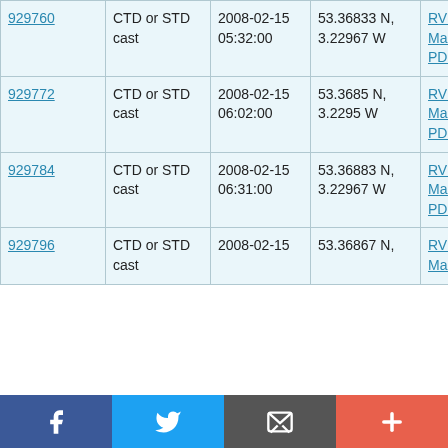| ID | Type | Date/Time | Location | Cruise |
| --- | --- | --- | --- | --- |
| 929760 | CTD or STD cast | 2008-02-15 05:32:00 | 53.36833 N, 3.22967 W | RV Prince Madog PD04/08 |
| 929772 | CTD or STD cast | 2008-02-15 06:02:00 | 53.3685 N, 3.2295 W | RV Prince Madog PD04/08 |
| 929784 | CTD or STD cast | 2008-02-15 06:31:00 | 53.36883 N, 3.22967 W | RV Prince Madog PD04/08 |
| 929796 | CTD or STD cast | 2008-02-15 | 53.36867 N, | RV Prince Madog |
[Figure (other): Social sharing bar with Facebook, Twitter, email, and plus buttons]